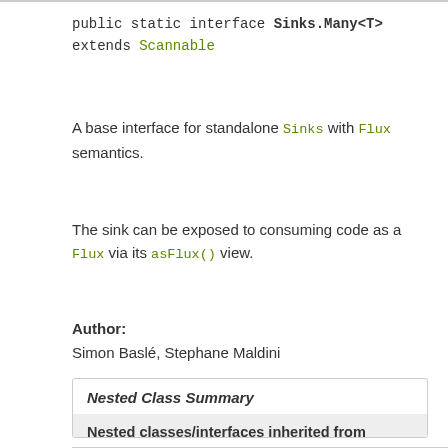public static interface Sinks.Many<T> extends Scannable
A base interface for standalone Sinks with Flux semantics.
The sink can be exposed to consuming code as a Flux via its asFlux() view.
Author:
Simon Baslé, Stephane Maldini
Nested Class Summary
| Nested classes/interfaces inherited from interface reactor.core.Scannable |
| --- |
| Scannable.Attr<T> |